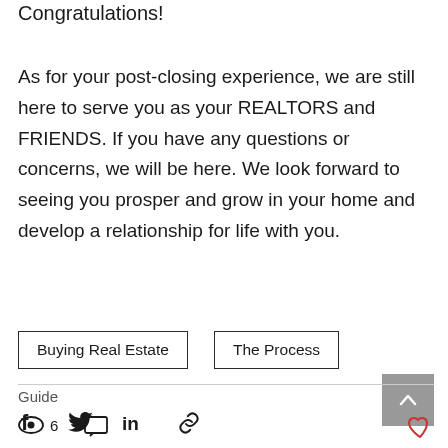Congratulations!
As for your post-closing experience, we are still here to serve you as your REALTORS and FRIENDS. If you have any questions or concerns, we will be here. We look forward to seeing you prosper and grow in your home and develop a relationship for life with you.
Buying Real Estate
The Process
Guide